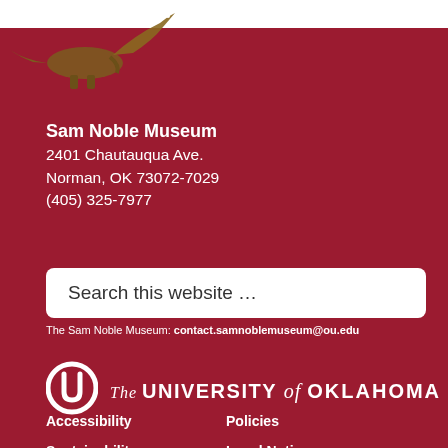[Figure (illustration): Partial dinosaur skeleton/fossil image in gold-brown tones against white bar at top]
Sam Noble Museum
2401 Chautauqua Ave.
Norman, OK 73072-7029
(405) 325-7977
Search this website …
The Sam Noble Museum: contact.samnoblemuseum@ou.edu
[Figure (logo): The University of Oklahoma interlocking OU logo with white text reading 'The UNIVERSITY of OKLAHOMA' on dark red background]
Accessibility
Policies
Sustainability
Legal Notices
HIPAA
Copyright
OU Job Search
Resources &